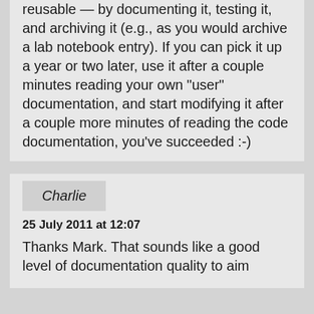reusable — by documenting it, testing it, and archiving it (e.g., as you would archive a lab notebook entry). If you can pick it up a year or two later, use it after a couple minutes reading your own "user" documentation, and start modifying it after a couple more minutes of reading the code documentation, you've succeeded :-)
Charlie
25 July 2011 at 12:07
Thanks Mark. That sounds like a good level of documentation quality to aim